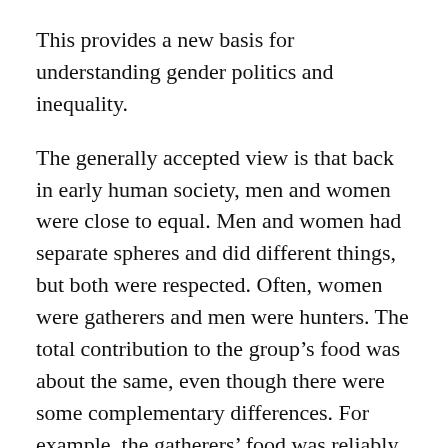This provides a new basis for understanding gender politics and inequality.
The generally accepted view is that back in early human society, men and women were close to equal. Men and women had separate spheres and did different things, but both were respected. Often, women were gatherers and men were hunters. The total contribution to the group's food was about the same, even though there were some complementary differences. For example, the gatherers' food was reliably there most days, while the hunters brought home great food once in a while but nothing on other days.
Gender inequality seems to have increased with early civilisation, including agriculture. Why? The feminist...